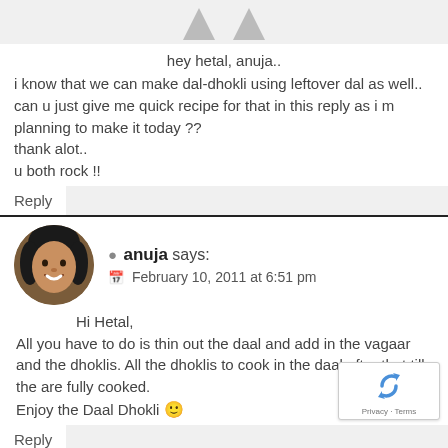[Figure (illustration): Two small grey avatar icons at the top]
hey hetal, anuja..
i know that we can make dal-dhokli using leftover dal as well..
can u just give me quick recipe for that in this reply as i m planning to make it today ??
thank alot..
u both rock !!
Reply
[Figure (photo): Circular profile photo of Anuja, a woman with dark hair smiling]
anuja says:
February 10, 2011 at 6:51 pm
Hi Hetal,
All you have to do is thin out the daal and add in the vagaar and the dhoklis. All the dhoklis to cook in the daal after that till the are fully cooked.
Enjoy the Daal Dhokli 🙂
Reply